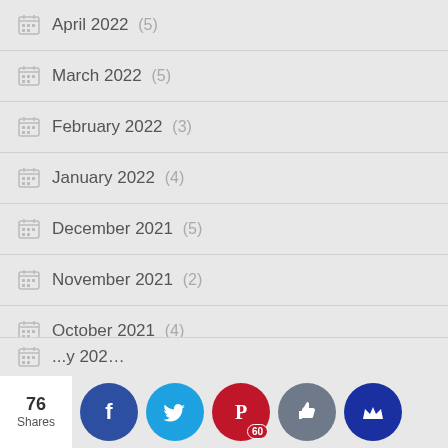April 2022 (5)
March 2022 (5)
February 2022 (3)
January 2022 (4)
December 2021 (5)
November 2021 (2)
October 2021 (4)
September 2021 (5)
August 2021 (2)
...y 202...